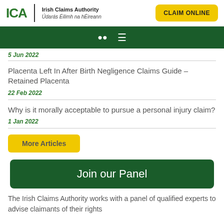ICA | Irish Claims Authority | Údarás Éilimh na hÉireann | CLAIM ONLINE
[truncated date]
Placenta Left In After Birth Negligence Claims Guide – Retained Placenta
22 Feb 2022
Why is it morally acceptable to pursue a personal injury claim?
1 Jan 2022
More Articles
Join our Panel
The Irish Claims Authority works with a panel of qualified experts to advise claimants of their rights